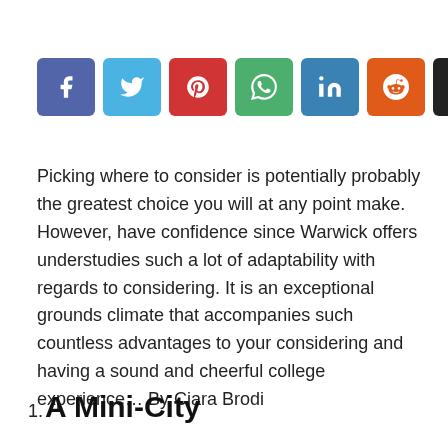[Figure (other): Row of social media share buttons: Facebook (blue), Twitter (light blue), Pinterest (red), WhatsApp (green), LinkedIn (blue), Reddit (orange), Email (black), More/plus (light grey)]
Picking where to consider is potentially probably the greatest choice you will at any point make. However, have confidence since Warwick offers understudies such a lot of adaptability with regards to considering. It is an exceptional grounds climate that accompanies such countless advantages to your considering and having a sound and cheerful college experience… By Ciara Brodi
1. A Mini-City